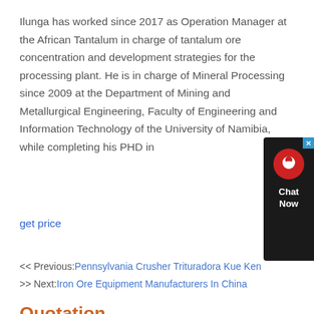Ilunga has worked since 2017 as Operation Manager at the African Tantalum in charge of tantalum ore concentration and development strategies for the processing plant. He is in charge of Mineral Processing since 2009 at the Department of Mining and Metallurgical Engineering, Faculty of Engineering and Information Technology of the University of Namibia, while completing his PHD in
get price
<< Previous: Pennsylvania Crusher Trituradora Kue Ken
>> Next: Iron Ore Equipment Manufacturers In China
Quotation
Get price and product manual: